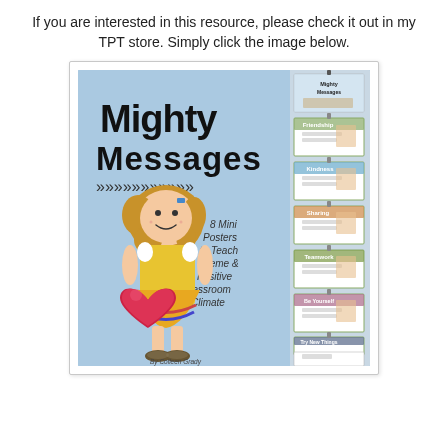If you are interested in this resource, please check it out in my TPT store.  Simply click the image below.
[Figure (illustration): Cover image for 'Mighty Messages' educational resource showing a cartoon girl holding a heart, with text '8 Mini Posters to Teach Theme & A Positive Classroom Climate' on a blue background, and a strip of mini poster thumbnails on the right side including Friendship, Kindness, Sharing, Teamwork, and other topics. By Colleen Grady.]